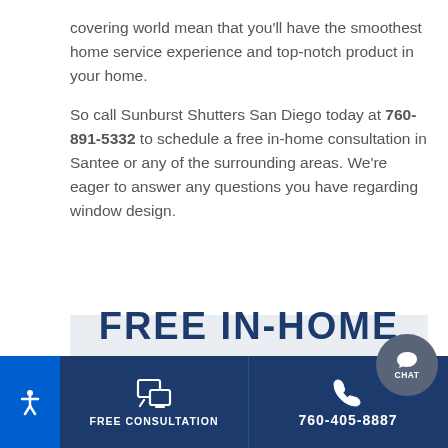covering world mean that you'll have the smoothest home service experience and top-notch product in your home.

So call Sunburst Shutters San Diego today at 760-891-5332 to schedule a free in-home consultation in Santee or any of the surrounding areas. We're eager to answer any questions you have regarding window design.
FREE IN-HOME
FREE CONSULTATION
760-405-8887